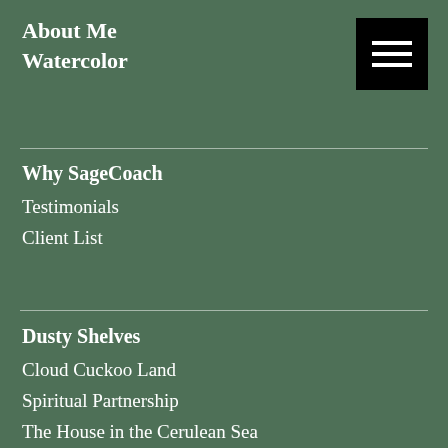About Me
Watercolor
[Figure (other): Hamburger menu icon (three horizontal white lines on black background)]
Why SageCoach
Testimonials
Client List
Dusty Shelves
Cloud Cuckoo Land
Spiritual Partnership
The House in the Cerulean Sea
The Great Circle
The Mothers